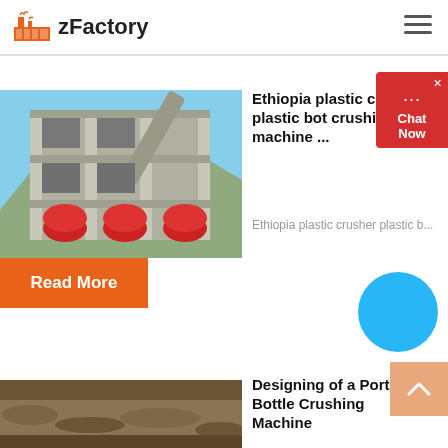zFactory
[Figure (photo): Industrial factory/plant structure with conveyor belts and cylindrical equipment against a clear sky]
Ethiopia plastic crusher plastic bot crushing machine ...
Ethiopia plastic crusher plastic b...
Read More
[Figure (photo): Ground/soil surface photo]
Designing of a Portable Bottle Crushing Machine